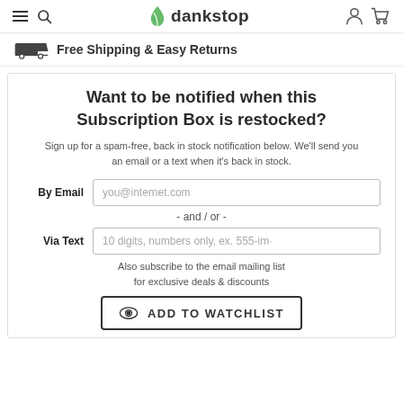dankstop
Free Shipping & Easy Returns
Want to be notified when this Subscription Box is restocked?
Sign up for a spam-free, back in stock notification below. We'll send you an email or a text when it's back in stock.
By Email
you@internet.com
- and / or -
Via Text
10 digits, numbers only, ex. 555-im·
Also subscribe to the email mailing list for exclusive deals & discounts
ADD TO WATCHLIST